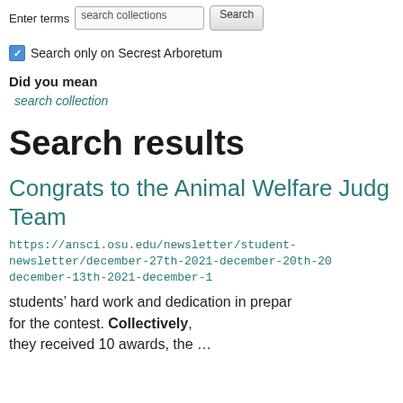Enter terms  search collections  Search
Search only on Secrest Arboretum
Did you mean
search collection
Search results
Congrats to the Animal Welfare Judging Team
https://ansci.osu.edu/newsletter/student-newsletter/december-27th-2021-december-20th-20 december-13th-2021-december-1
students’ hard work and dedication in preparing for the contest. Collectively, they received 10 awards, the …